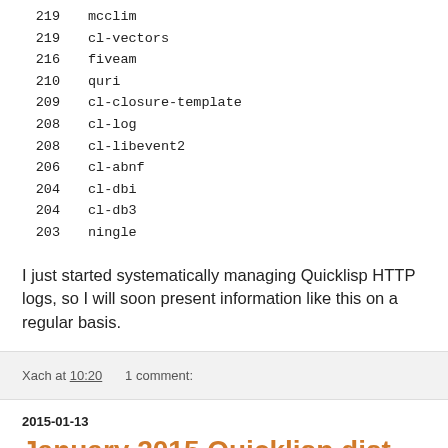219    mcclim
219    cl-vectors
216    fiveam
210    quri
209    cl-closure-template
208    cl-log
208    cl-libevent2
206    cl-abnf
204    cl-dbi
204    cl-db3
203    ningle
I just started systematically managing Quicklisp HTTP logs, so I will soon present information like this on a regular basis.
Xach at 10:20    1 comment:
2015-01-13
January 2015 Quicklisp dist update now available